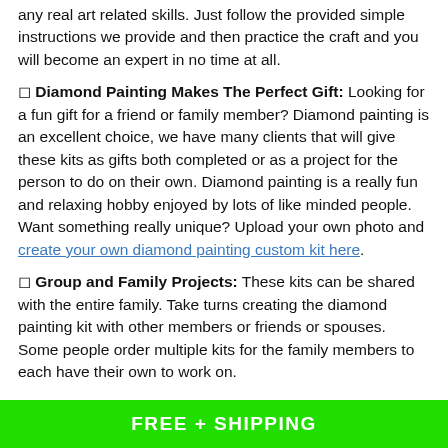any real art related skills. Just follow the provided simple instructions we provide and then practice the craft and you will become an expert in no time at all.
◻ Diamond Painting Makes The Perfect Gift: Looking for a fun gift for a friend or family member? Diamond painting is an excellent choice, we have many clients that will give these kits as gifts both completed or as a project for the person to do on their own. Diamond painting is a really fun and relaxing hobby enjoyed by lots of like minded people. Want something really unique? Upload your own photo and create your own diamond painting custom kit here.
◻ Group and Family Projects: These kits can be shared with the entire family. Take turns creating the diamond painting kit with other members or friends or spouses. Some people order multiple kits for the family members to each have their own to work on.
FREE + SHIPPING